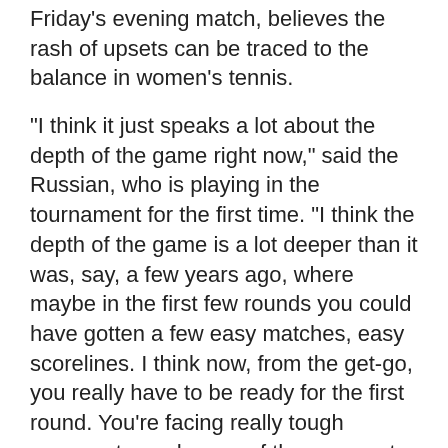Friday's evening match, believes the rash of upsets can be traced to the balance in women's tennis.
"I think it just speaks a lot about the depth of the game right now," said the Russian, who is playing in the tournament for the first time. "I think the depth of the game is a lot deeper than it was, say, a few years ago, where maybe in the first few rounds you could have gotten a few easy matches, easy scorelines. I think now, from the get-go, you really have to be ready for the first round. You're facing really tough opponents, and some of them are not seeded or dropped in the rankings, but to be honest, at the end of the day, that doesn't really matter. You still have to go out there and face them."
Former No. 1 Ana Ivanovic continued her impressive run with a 6-0, 6-3 win over No. 49 Elena Vesnina. The 62nd-ranked Ivanovic has beaten three higher-ranked opponents to reach the quarterfinals.
The 114th-ranked Amanmuradova, the last qualifier